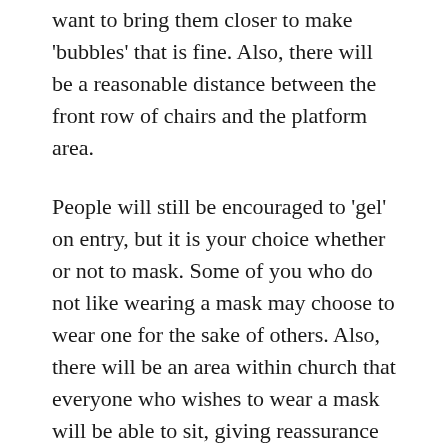want to bring them closer to make 'bubbles' that is fine. Also, there will be a reasonable distance between the front row of chairs and the platform area.
People will still be encouraged to 'gel' on entry, but it is your choice whether or not to mask. Some of you who do not like wearing a mask may choose to wear one for the sake of others. Also, there will be an area within church that everyone who wishes to wear a mask will be able to sit, giving reassurance to those wearing masks that they are amongst like-minded people, but naturally if mask-wearers want to sit with the non-mask wearers that is fine. Also, windows (and doors where possible) will be open to ensure good ventilation and the church is regularly receiving